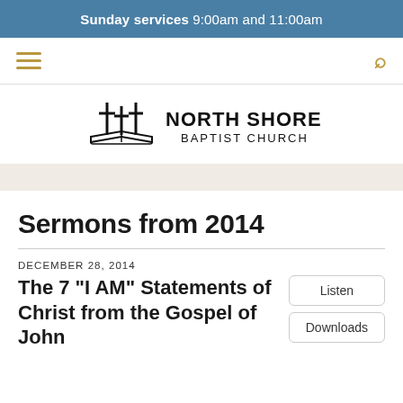Sunday services 9:00am and 11:00am
[Figure (logo): North Shore Baptist Church logo with three crosses over an open Bible and the text NORTH SHORE BAPTIST CHURCH]
Sermons from 2014
DECEMBER 28, 2014
The 7 "I AM" Statements of Christ from the Gospel of John
Listen
Downloads